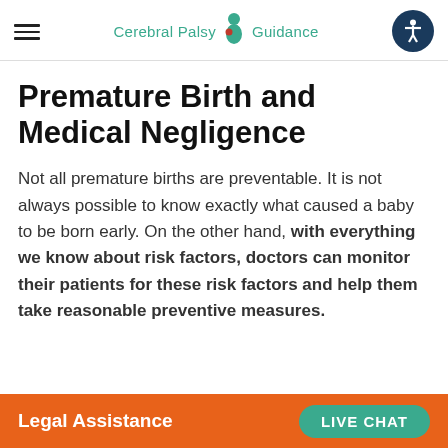Cerebral Palsy Guidance
Premature Birth and Medical Negligence
Not all premature births are preventable. It is not always possible to know exactly what caused a baby to be born early. On the other hand, with everything we know about risk factors, doctors can monitor their patients for these risk factors and help them take reasonable preventive measures.
Legal Assistance  LIVE CHAT